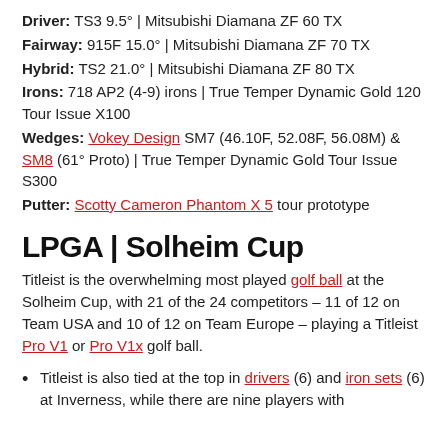Driver: TS3 9.5° | Mitsubishi Diamana ZF 60 TX
Fairway: 915F 15.0° | Mitsubishi Diamana ZF 70 TX
Hybrid: TS2 21.0° | Mitsubishi Diamana ZF 80 TX
Irons: 718 AP2 (4-9) irons | True Temper Dynamic Gold 120 Tour Issue X100
Wedges: Vokey Design SM7 (46.10F, 52.08F, 56.08M) & SM8 (61° Proto) | True Temper Dynamic Gold Tour Issue S300
Putter: Scotty Cameron Phantom X 5 tour prototype
LPGA | Solheim Cup
Titleist is the overwhelming most played golf ball at the Solheim Cup, with 21 of the 24 competitors – 11 of 12 on Team USA and 10 of 12 on Team Europe – playing a Titleist Pro V1 or Pro V1x golf ball.
Titleist is also tied at the top in drivers (6) and iron sets (6) at Inverness, while there are nine players with